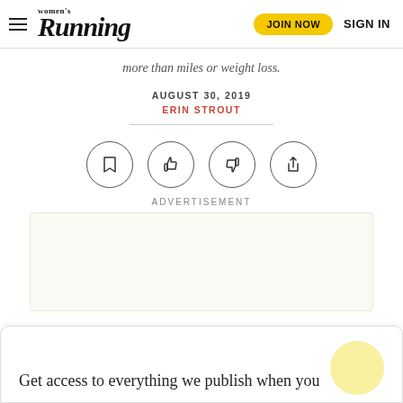women's Running — JOIN NOW  SIGN IN
more than miles or weight loss.
AUGUST 30, 2019
ERIN STROUT
[Figure (infographic): Four circular icon buttons: bookmark, thumbs up, thumbs down, share]
ADVERTISEMENT
Get access to everything we publish when you